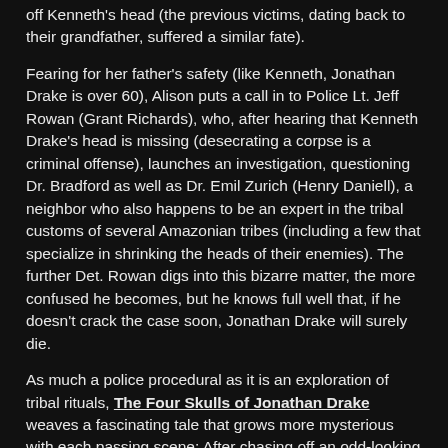off Kenneth's head (the previous victims, dating back to their grandfather, suffered a similar fate).
Fearing for her father's safety (like Kenneth, Jonathan Drake is over 60), Alison puts a call in to Police Lt. Jeff Rowan (Grant Richards), who, after hearing that Kenneth Drake's head is missing (desecrating a corpse is a criminal offense), launches an investigation, questioning Dr. Bradford as well as Dr. Emil Zurich (Henry Daniell), a neighbor who also happens to be an expert in the tribal customs of several Amazonian tribes (including a few that specialize in shrinking the heads of their enemies). The further Det. Rowan digs into this bizarre matter, the more confused he becomes, but he knows full well that, if he doesn't crack the case soon, Jonathan Drake will surely die.
As much a police procedural as it is an exploration of tribal rituals, The Four Skulls of Jonathan Drake weaves a fascinating tale that grows more mysterious with each passing scene; After chasing off an odd-looking intruder (Paul Wexler) who just tried to murder Jonathan Drake, Det. Rowan finds the suspect left behind a clue: a sandal made entirely of human skin! In addition to the twists and turns its story takes, The Four Skulls of Jonathan Drake benefited from the fine work of makeup artist Charles Gemora, who also designed the various severed heads (both life-